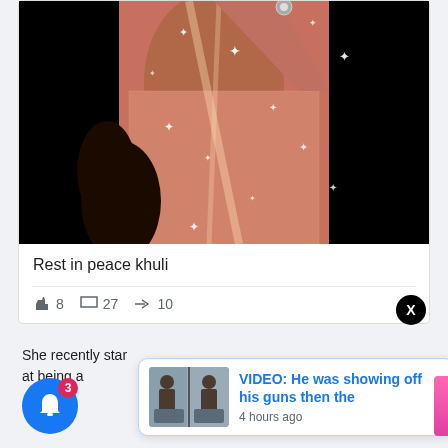[Figure (photo): Close-up photo of a person wearing a sparkly rose-gold/copper mesh dress with white sparkle star effects overlaid, against a black background]
Rest in peace khuli
👍 8   💬 27   ↗ 10
She recently star
at being a
[Figure (photo): Notification popup card showing a thumbnail of two people near a vehicle with text: VIDEO: He was showing off his guns then the — 4 hours ago]